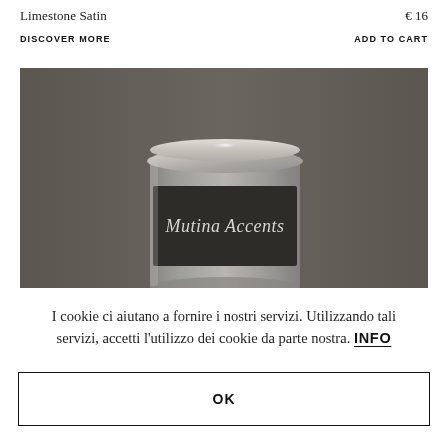Limestone Satin
€ 16
DISCOVER MORE
ADD TO CART
[Figure (photo): A cylindrical paint tin with a metallic silver lid and a dark label reading 'Mutina Accents', photographed against a dark grey background.]
I cookie ci aiutano a fornire i nostri servizi. Utilizzando tali servizi, accetti l'utilizzo dei cookie da parte nostra. INFO
OK